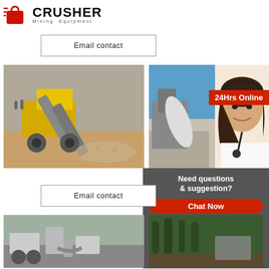[Figure (logo): CRUSHER Mining Equipment logo with red shopping bag icon]
Email contact
[Figure (photo): Yellow mining crusher equipment at a quarry site with conveyor belts and gravel]
[Figure (photo): Mining site with heavy equipment, blue sky, with overlay of woman wearing headset and 24Hrs Online badge]
Need questions & suggestion?
Chat Now
Enquiry
limingjlmofen@sina.com
Email contact
[Figure (photo): Mining or construction vehicles on a work site]
[Figure (photo): Forest or outdoor scene with mining equipment]